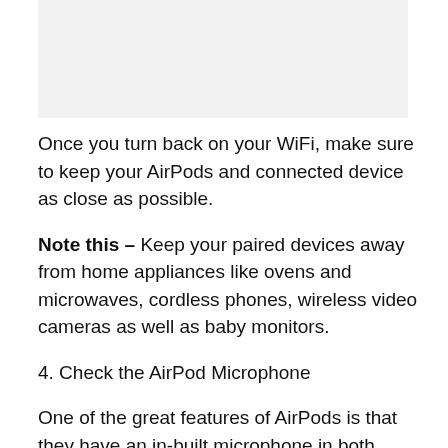[Figure (other): Image placeholder at top of page]
Once you turn back on your WiFi, make sure to keep your AirPods and connected device as close as possible.
Note this – Keep your paired devices away from home appliances like ovens and microwaves, cordless phones, wireless video cameras as well as baby monitors.
4. Check the AirPod Microphone
One of the great features of AirPods is that they have an in-built microphone in both